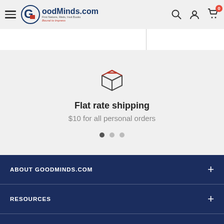GoodMinds.com — First Nations, Metis, Inuit Books — Bound to Impress
[Figure (illustration): Package/box shipping icon outline]
Flat rate shipping
$10 for all personal orders
ABOUT GOODMINDS.COM
RESOURCES
GOODMINDS.COM